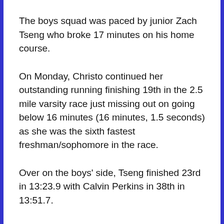The boys squad was paced by junior Zach Tseng who broke 17 minutes on his home course.
On Monday, Christo continued her outstanding running finishing 19th in the 2.5 mile varsity race just missing out on going below 16 minutes (16 minutes, 1.5 seconds) as she was the sixth fastest freshman/sophomore in the race.
Over on the boys' side, Tseng finished 23rd in 13:23.9 with Calvin Perkins in 38th in 13:51.7.
And for those looking to the future, Belmont saw two girls finish in the top 10 in the freshman race with Catherine Cunningham in